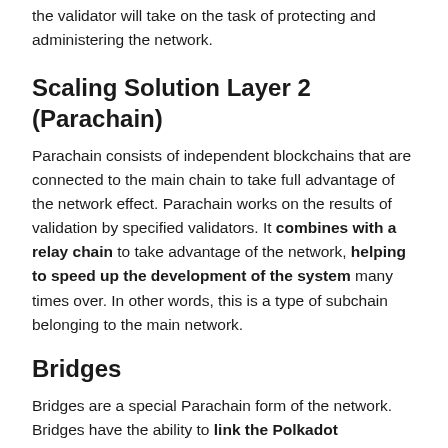the validator will take on the task of protecting and administering the network.
Scaling Solution Layer 2 (Parachain)
Parachain consists of independent blockchains that are connected to the main chain to take full advantage of the network effect. Parachain works on the results of validation by specified validators. It combines with a relay chain to take advantage of the network, helping to speed up the development of the system many times over. In other words, this is a type of subchain belonging to the main network.
Bridges
Bridges are a special Parachain form of the network. Bridges have the ability to link the Polkadot ecosystem with other blockchain protocols such as Ethereum or